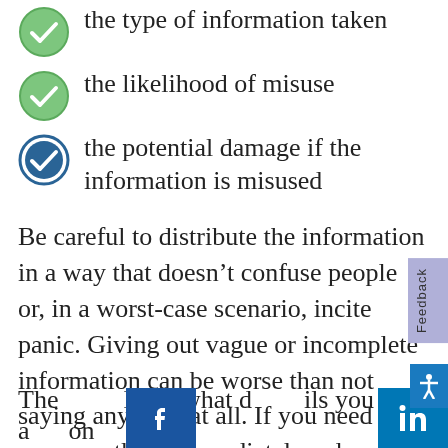the type of information taken
the likelihood of misuse
the potential damage if the information is misused
Be careful to distribute the information in a way that doesn’t confuse people or, in a worst-case scenario, incite panic. Giving out vague or incomplete information can be worse than not saying anything at all. If you need to say something immediately, release a statement saying that you’re aware of a breach and are working to gather more details.
The [please what d]etails you can a[ction] on